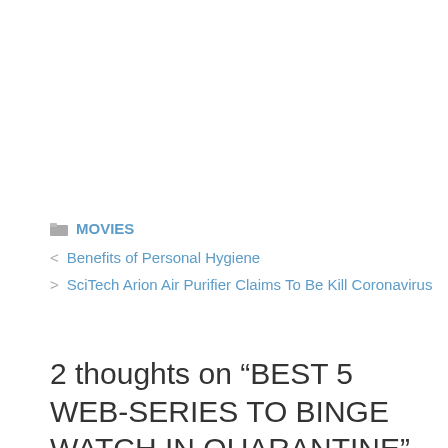MOVIES
Benefits of Personal Hygiene
SciTech Arion Air Purifier Claims To Be Kill Coronavirus
2 thoughts on “BEST 5 WEB-SERIES TO BINGE WATCH IN QUARANTINE”